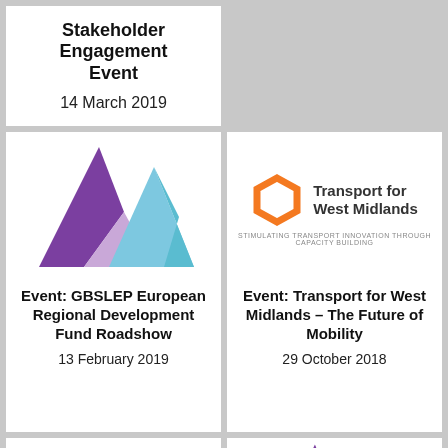Stakeholder Engagement Event
14 March 2019
[Figure (logo): GBSLEP geometric mountain logo in purple, lavender and blue/teal triangular shapes]
Event: GBSLEP European Regional Development Fund Roadshow
13 February 2019
[Figure (logo): Transport for West Midlands logo with orange hexagon ring and text 'Transport for West Midlands — STIMULATING TRANSPORT INNOVATION THROUGH CAPACITY BUILDING']
Event: Transport for West Midlands – The Future of Mobility
29 October 2018
[Figure (logo): Digital Innov8ion The Skills Academy Employer Event logo with gears and people icons]
[Figure (logo): GBSLEP geometric mountain logo in purple, lavender and blue/teal — partial view at bottom right]